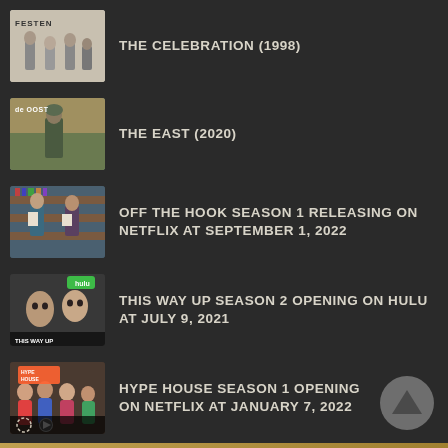THE CELEBRATION (1998)
THE EAST (2020)
OFF THE HOOK SEASON 1 RELEASING ON NETFLIX AT SEPTEMBER 1, 2022
THIS WAY UP SEASON 2 OPENING ON HULU AT JULY 9, 2021
HYPE HOUSE SEASON 1 OPENING ON NETFLIX AT JANUARY 7, 2022